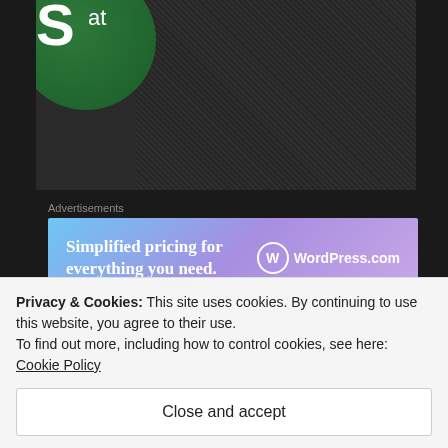[Figure (photo): Partial view of a green Starbucks button/badge on a dark textured fabric background]
Advertisements
[Figure (screenshot): WordPress.com advertisement banner with gradient blue-purple background. Text: 'Simplified pricing for everything you need.' with WordPress.com logo on the right.]
REPORT THIS AD
(RANDOM 🚨 ALERT!!!: I am geeking out about this is new
Privacy & Cookies: This site uses cookies. By continuing to use this website, you agree to their use.
To find out more, including how to control cookies, see here: Cookie Policy
Close and accept